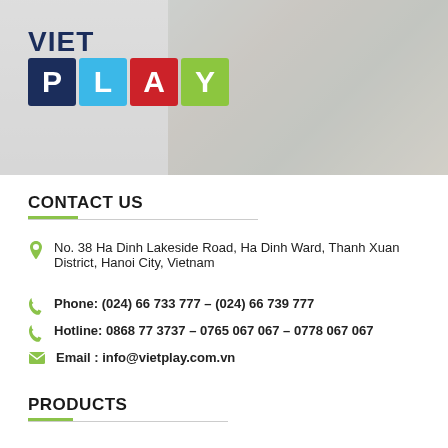[Figure (logo): VietPlay logo with 'VIET' in dark navy above colored letter blocks spelling 'PLAY' (P=navy, L=blue, A=red, Y=green) on a grey banner background]
CONTACT US
No. 38 Ha Dinh Lakeside Road, Ha Dinh Ward, Thanh Xuan District, Hanoi City, Vietnam
Phone: (024) 66 733 777 – (024) 66 739 777
Hotline: 0868 77 3737 – 0765 067 067 – 0778 067 067
Email : info@vietplay.com.vn
PRODUCTS